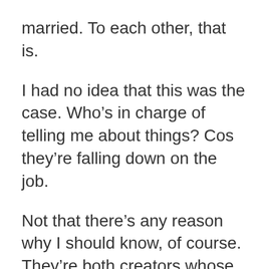married. To each other, that is.
I had no idea that this was the case. Who’s in charge of telling me about things? Cos they’re falling down on the job.
Not that there’s any reason why I should know, of course. They’re both creators whose work I’ve enjoyed in the past, but that’s all.
Anyway, this was the standard sort of author talk/interview thing, led by a guy who didn’t introduce himself, but according to the event page